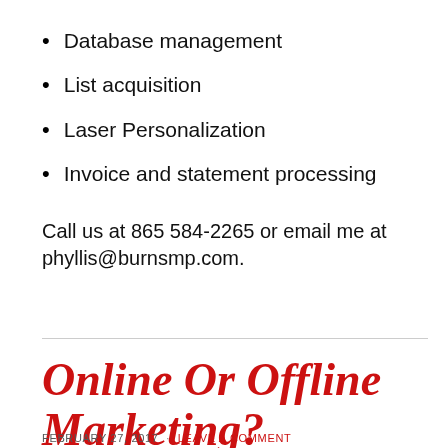Database management
List acquisition
Laser Personalization
Invoice and statement processing
Call us at 865 584-2265 or email me at phyllis@burnsmp.com.
Online Or Offline Marketing?
FEBRUARY 27, 2017 · LEAVE A COMMENT